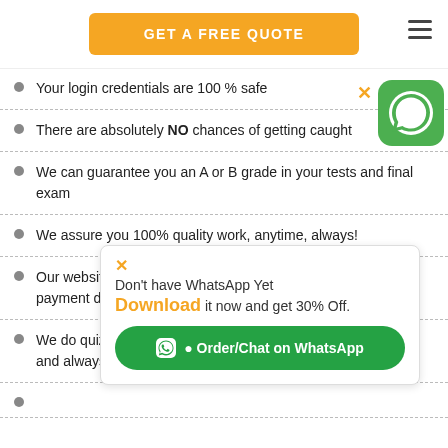GET A FREE QUOTE
Your login credentials are 100 % safe
There are absolutely NO chances of getting caught
We can guarantee you an A or B grade in your tests and final exam
We assure you 100% quality work, anytime, always!
Our website uses s and payment details n
We do quizzes, te nicely and always before the deadline
[Figure (screenshot): WhatsApp promotional popup: 'Don't have WhatsApp Yet Download it now and get 30% Off.' with green Order/Chat on WhatsApp button and WhatsApp icon in top right corner]